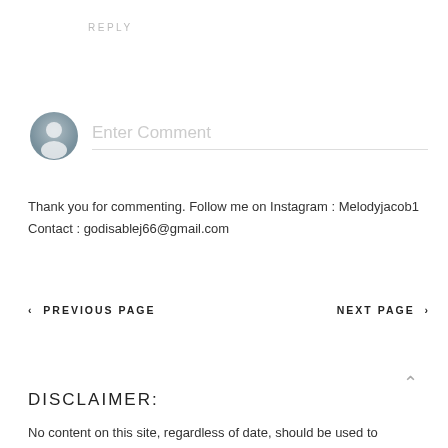REPLY
[Figure (other): User avatar placeholder icon (gray circle with person silhouette) next to an Enter Comment input field with a bottom border underline]
Thank you for commenting. Follow me on Instagram : Melodyjacob1
Contact : godisablej66@gmail.com
‹ PREVIOUS PAGE     NEXT PAGE ›
DISCLAIMER:
No content on this site, regardless of date, should be used to